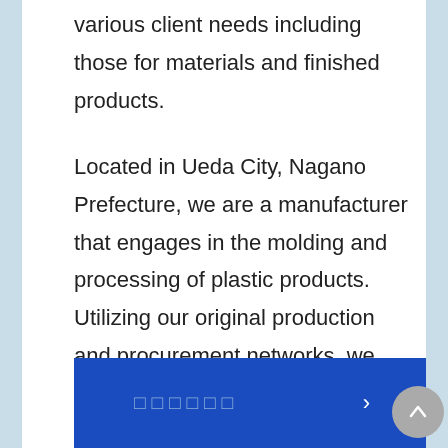various client needs including those for materials and finished products.
Located in Ueda City, Nagano Prefecture, we are a manufacturer that engages in the molding and processing of plastic products. Utilizing our original production and procurement networks, we provide a wide variety of products and services for our clients all over Japan. We meet various client needs such as those for two color formation, insert molding, mold building, coating, printing, and the trial production of 3D printers.
□□□□□□